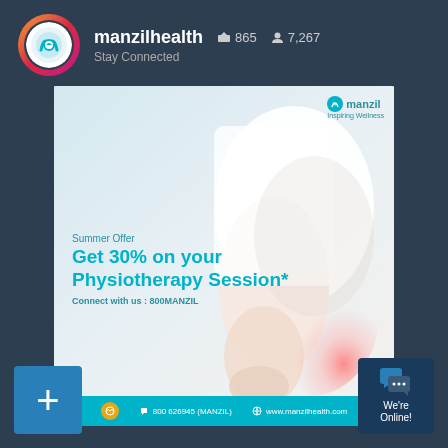manzilhealth  865  7,267  Stay Connected
[Figure (screenshot): Instagram post ad by manzilhealth showing a person with lower back pain and text: Summer Offer Get 30% on your Physiotherapy Session* Connect with us : 800MANZIL. Manzil Inspiring Wellness logo in top right. Footer bar with 800 626945 (MANZIL) and www.manzilhealth.com]
+ (blue button, bottom left)
We're Online! (chat button, bottom right)